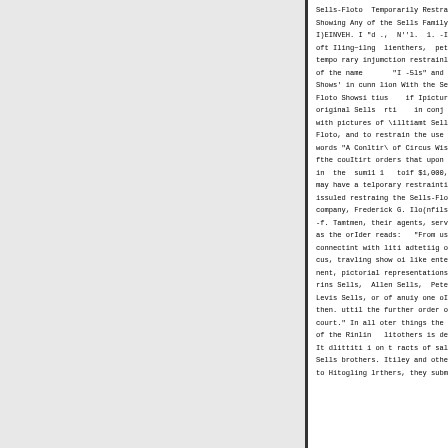Sells-Floto  Temporarily Restrained Showing Any of the Sells Family. I)EINVEH. I "d .,  N''l.  1. -In I-oft Iling~ilng  lienthers,  petitio tempo rary injumction restrainling of the name       "I -5ls" and "ig Shows' in cunn lion With the Sells-Floto Showsi tius    if Ipictures o original Sells  rti    in conj u with pictures of \illtiamt Sells ar Floto, and to restrain the use of t words "A Conltir\ of Circus Wisdom. fthe couItirt orders that upon fOli in  the  sum11 1   to1f $1,000, Ith may have a telporary restrainting o issuled restraing the Sells-Floto company, Frederick G. Ilo(nfils ano -f. Tamtmen, their agents, servants as the orIder reads:   "From using connectint with liti adtetiig of a cus, travling show oi like entertai nent, pictorial representations of rins Sells,  Allen Sells,  Peter Levis Sells, or of anuiy one oIr mo then. uttil the further order of th court." In all oter things the leti of the Rinlin   litothers is denied It dlittiti i on t racts of sale fr Sells brothers. Itiley and others, to Hitogling lrthers, they submitte